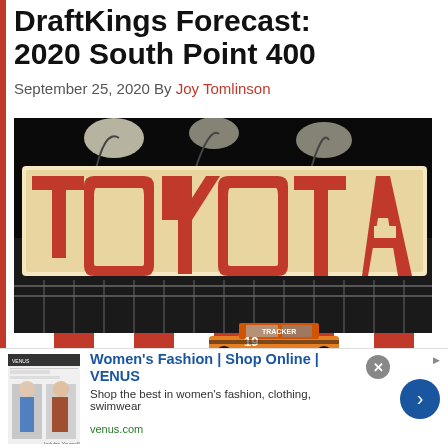DraftKings Forecast: 2020 South Point 400
September 25, 2020 By Joy Tomlinson
[Figure (photo): NASCAR race car with number 19, Tracker branding, driving past a large illuminated TOYOTA sign at night at Las Vegas Motor Speedway]
[Figure (infographic): Advertisement banner: Women's Fashion | Shop Online | VENUS. Shop the best in women's fashion, clothing, swimwear. venus.com]